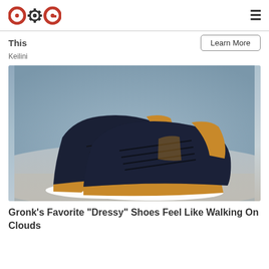COG (logo) | hamburger menu
This
Keilini
Learn More
[Figure (photo): Two dark navy/black lace-up casual dressy sneakers with tan/brown leather accents and white soles, photographed on a light blue-grey sandy surface against a grey-blue background.]
Gronk's Favorite "Dressy" Shoes Feel Like Walking On Clouds